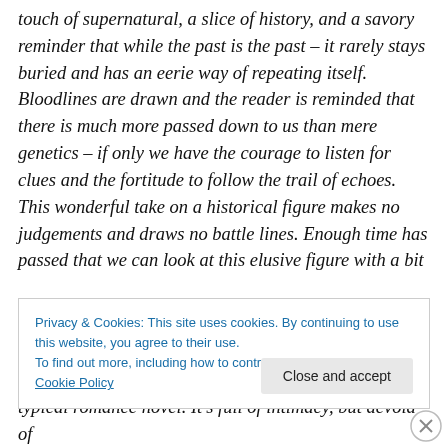touch of supernatural, a slice of history, and a savory reminder that while the past is the past – it rarely stays buried and has an eerie way of repeating itself. Bloodlines are drawn and the reader is reminded that there is much more passed down to us than mere genetics – if only we have the courage to listen for clues and the fortitude to follow the trail of echoes. This wonderful take on a historical figure makes no judgements and draws no battle lines. Enough time has passed that we can look at this elusive figure with a bit
Privacy & Cookies: This site uses cookies. By continuing to use this website, you agree to their use. To find out more, including how to control cookies, see here: Cookie Policy
typical romance novel. It's full of intimacy, but devoid of